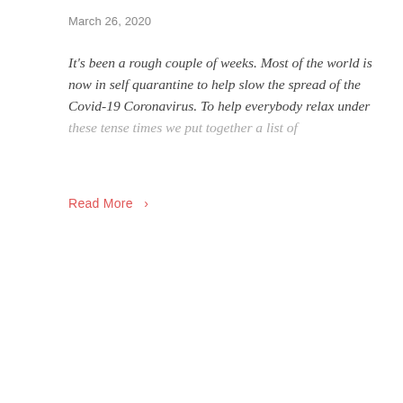March 26, 2020
It's been a rough couple of weeks. Most of the world is now in self quarantine to help slow the spread of the Covid-19 Coronavirus. To help everybody relax under these tense times we put together a list of
Read More >